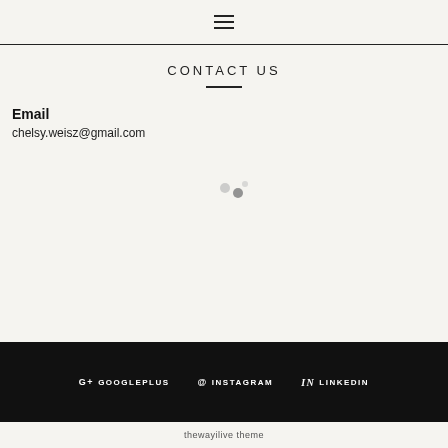☰
CONTACT US
Email
chelsy.weisz@gmail.com
[Figure (other): Loading spinner dots]
G+ GOOGLEPLUS  @ INSTAGRAM  in LINKEDIN
thewayilive theme